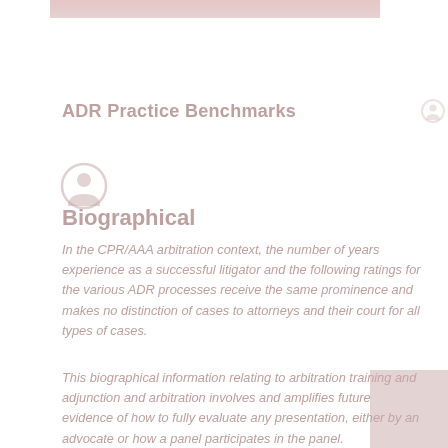[Figure (other): Faded pink/rose gradient bar at the top of the page]
ADR Practice Benchmarks
[Figure (other): Circle icon with person/user symbol, top right corner]
[Figure (other): Person/user circular icon, left side]
Biographical
In the CPR/AAA arbitration context, the number of years experience as a successful litigator and the following ratings for the various ADR processes receive the same prominence and makes no distinction of cases to attorneys and their court for all types of cases.
This biographical information relating to arbitration and adjunction and arbitration involves and amplifies future evidence of how to fully evaluate any presentation, either by an advocate or how a panel participates in the panel.
[Figure (other): Small thumbnail image, bottom right corner]